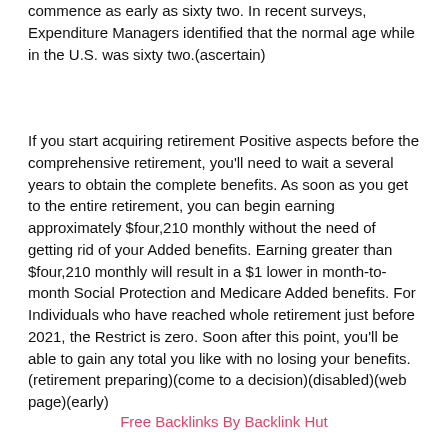commence as early as sixty two. In recent surveys, Expenditure Managers identified that the normal age while in the U.S. was sixty two.(ascertain)
If you start acquiring retirement Positive aspects before the comprehensive retirement, you'll need to wait a several years to obtain the complete benefits. As soon as you get to the entire retirement, you can begin earning approximately $four,210 monthly without the need of getting rid of your Added benefits. Earning greater than $four,210 monthly will result in a $1 lower in month-to-month Social Protection and Medicare Added benefits. For Individuals who have reached whole retirement just before 2021, the Restrict is zero. Soon after this point, you'll be able to gain any total you like with no losing your benefits.(retirement preparing)(come to a decision)(disabled)(web page)(early)
Free Backlinks By Backlink Hut